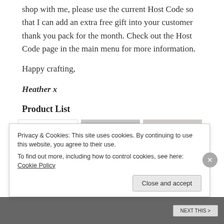shop with me, please use the current Host Code so that I can add an extra free gift into your customer thank you pack for the month. Check out the Host Code page in the main menu for more information.
Happy crafting,
Heather x
Product List
[Figure (photo): Three product images: a stamp sheet with birthday/thank you stamps, a geometric embossing folder, and a corner punch tool]
Privacy & Cookies: This site uses cookies. By continuing to use this website, you agree to their use.
To find out more, including how to control cookies, see here: Cookie Policy
Close and accept